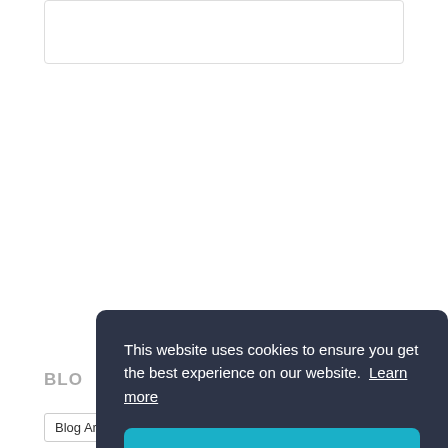[Figure (screenshot): Top bordered card/box area, partially visible, white background with light border]
BLO
[Figure (screenshot): Cookie consent popup overlay with dark navy background. Text: 'This website uses cookies to ensure you get the best experience on our website. Learn more' and a teal 'Got it!' button]
Blog Archive dropdown and blue button at bottom